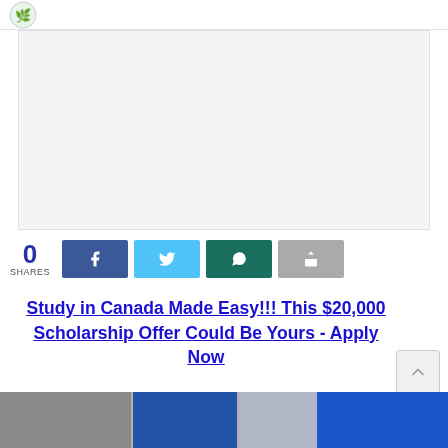[Figure (other): Advertisement banner placeholder — light gray rectangle]
0 SHARES
[Figure (infographic): Social share buttons: Facebook (blue), Twitter (light blue), WhatsApp (dark teal), Share (gray)]
Study in Canada Made Easy!!! This $20,000 Scholarship Offer Could Be Yours - Apply Now
[Figure (photo): Bottom strip image showing building/door scenes in blue tones]